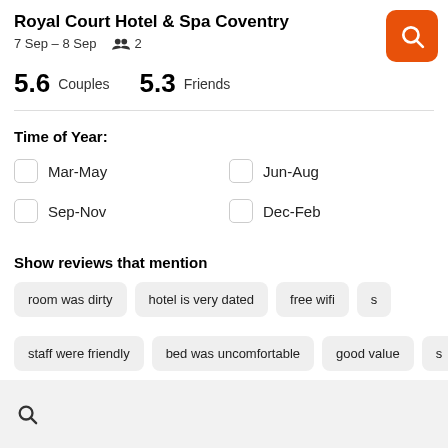Royal Court Hotel & Spa Coventry
7 Sep – 8 Sep   👥 2
5.6 Couples   5.3 Friends
Time of Year:
Mar-May
Jun-Aug
Sep-Nov
Dec-Feb
Show reviews that mention
room was dirty
hotel is very dated
free wifi
staff were friendly
bed was uncomfortable
good value